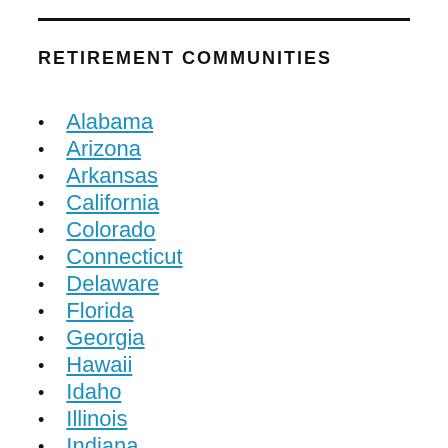RETIREMENT COMMUNITIES
Alabama
Arizona
Arkansas
California
Colorado
Connecticut
Delaware
Florida
Georgia
Hawaii
Idaho
Illinois
Indiana